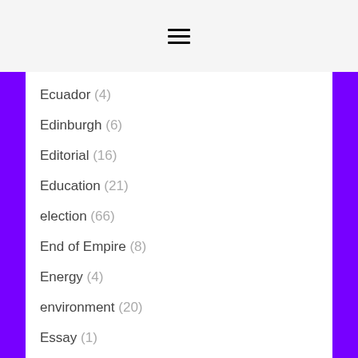☰
Ecuador (4)
Edinburgh (6)
Editorial (16)
Education (21)
election (66)
End of Empire (8)
Energy (4)
environment (20)
Essay (1)
Ethopia (1)
EU (37)
Event (41)
events (3)
False Flag (1)